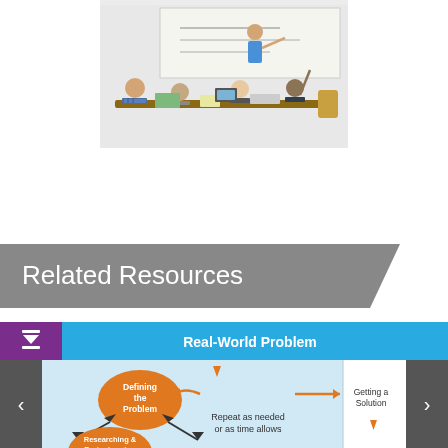[Figure (photo): Classroom scene showing a teacher at a whiteboard pointing while students sit around a table. Students include a boy in a plaid shirt and others facing the board. Bright classroom setting.]
Related Resources
[Figure (flowchart): Flowchart diagram titled 'Real-World Problem' showing steps: Defining the Problem (orange ellipse) connected to Researching & Brainstorming (orange ellipse), with arrows indicating 'Repeat as needed or as time allows', and leading to 'Getting a Solution'. Navigation arrows (left/right) on sides. Purple download icon on left of header bar.]